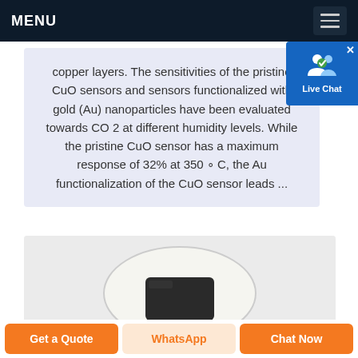MENU
copper layers. The sensitivities of the pristine CuO sensors and sensors functionalized with gold (Au) nanoparticles have been evaluated towards CO 2 at different humidity levels. While the pristine CuO sensor has a maximum response of 32% at 350 ∘ C, the Au functionalization of the CuO sensor leads ...
[Figure (photo): Circular white CO2 sensor device with a small black display screen on front, shown against a light gray background.]
Get a Quote | WhatsApp | Chat Now